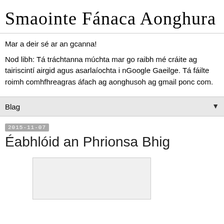Smaointe Fánaca Aonghura
Mar a deir sé ar an gcanna!
Nod libh: Tá tráchtanna múchta mar go raibh mé cráite ag tairiscintí airgid agus asarlaíochta i nGoogle Gaeilge. Tá fáilte roimh comhfhreagras áfach ag aonghusoh ag gmail ponc com.
Blag
2015-11-07
Éabhlóid an Phrionsa Bhig
[Figure (other): Blank/white image placeholder area]